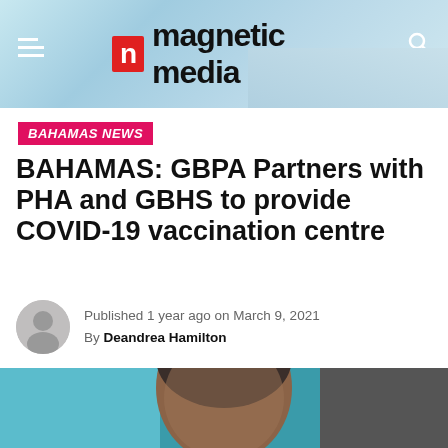magnetic media
BAHAMAS NEWS
BAHAMAS: GBPA Partners with PHA and GBHS to provide COVID-19 vaccination centre
Published 1 year ago on March 9, 2021
By Deandrea Hamilton
[Figure (photo): Close-up photo of a man's face against a teal and grey background]